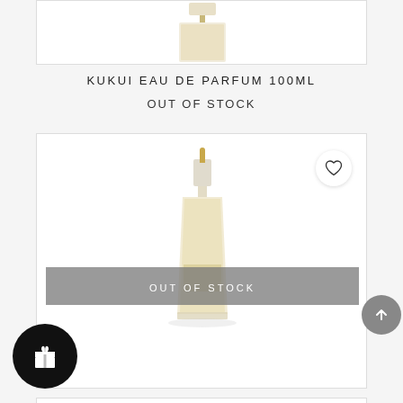[Figure (photo): Partial view of KUKUI EAU DE PARFUM 100ML bottle in a white product card, cropped at top of page]
KUKUI EAU DE PARFUM 100ML
OUT OF STOCK
[Figure (photo): KUKUI EAU DE PARFUM 30ML bottle in a white product card with gray OUT OF STOCK overlay banner and heart wishlist icon]
KUKUI EAU DE PARFUM 30ML
OUT OF STOCK